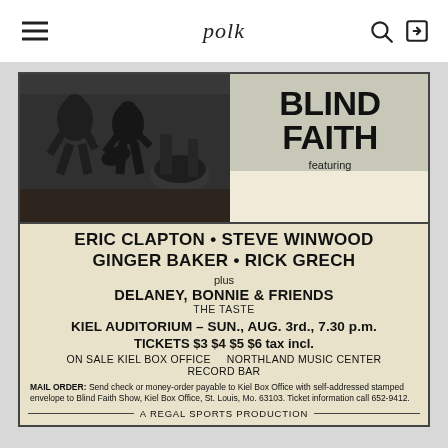polk
[Figure (photo): Black and white photograph of musicians performing on stage, likely Blind Faith band members playing instruments.]
BLIND FAITH
featuring
ERIC CLAPTON • STEVE WINWOOD
GINGER BAKER • RICK GRECH
plus
DELANEY, BONNIE & FRIENDS
THE TASTE
KIEL AUDITORIUM – SUN., AUG. 3rd., 7.30 p.m.
TICKETS $3 $4 $5 $6 tax incl.
ON SALE KIEL BOX OFFICE    NORTHLAND MUSIC CENTER
RECORD BAR
MAIL ORDER: Send check or money-order payable to Kiel Box Office with self-addressed stamped envelope to Blind Faith Show, Kiel Box Office, St. Louis, Mo. 63103. Ticket information call 652-9412.
A REGAL SPORTS PRODUCTION